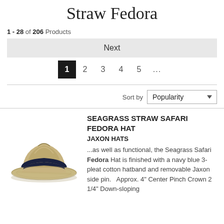Straw Fedora
1 - 28 of 206 Products
Next
1  2  3  4  5  ...
Sort by Popularity
[Figure (photo): A woven seagrass straw safari fedora hat with a dark navy blue hatband, photographed from a slightly angled front view on a white background.]
SEAGRASS STRAW SAFARI FEDORA HAT
JAXON HATS
...as well as functional, the Seagrass Safari Fedora Hat is finished with a navy blue 3-pleat cotton hatband and removable Jaxon side pin.   Approx. 4" Center Pinch Crown 2 1/4" Down-sloping